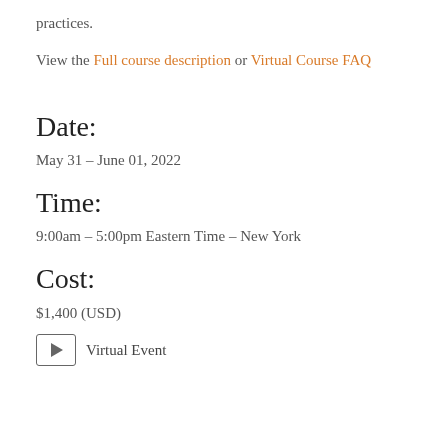practices.
View the Full course description or Virtual Course FAQ
Date:
May 31 – June 01, 2022
Time:
9:00am – 5:00pm Eastern Time – New York
Cost:
$1,400 (USD)
Virtual Event